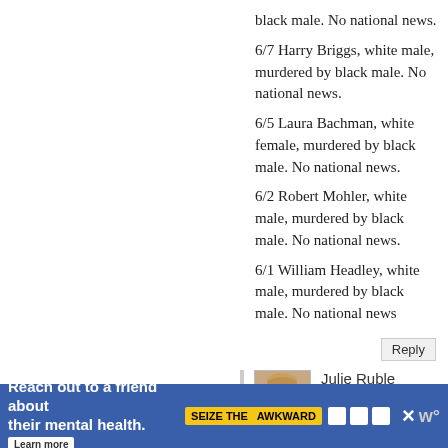black male. No national news.
6/7 Harry Briggs, white male, murdered by black male. No national news.
6/5 Laura Bachman, white female, murdered by black male. No national news.
6/2 Robert Mohler, white male, murdered by black male. No national news.
6/1 William Headley, white male, murdered by black male. No national news
Reply
Julie Ruble
August 25, 2014 at 12:43 pm (8 years ago)
I'm unclear on your point. The few of these that I googled were all murders that were investigated and where the suspect was put on
Reach out to a friend about their mental health. Learn more SEIZE THE AWKWARD